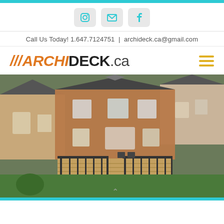Social icons: Instagram, Email, Facebook
Call Us Today! 1.647.7124751 | archideck.ca@gmail.com
///ARCHIDECK.ca
[Figure (photo): Aerial view of a two-story red brick house with a large wooden deck with black railings and stairs, surrounded by green lawn, with neighboring homes visible.]